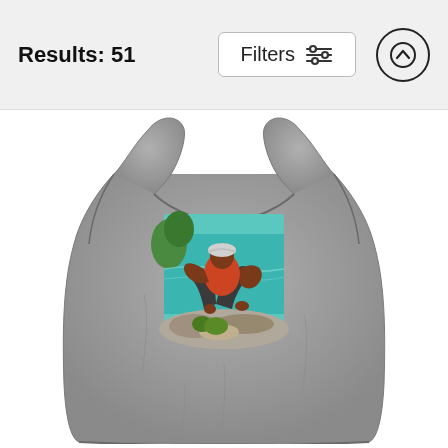Results: 51
[Figure (screenshot): A UI filter button labeled Filters with a sliders icon]
[Figure (screenshot): An up-arrow circle button for scrolling up]
[Figure (illustration): A gray heather tank top product photo with a painted artwork printed on the chest showing a man crouching on rocks near turquoise ocean water, working with coconuts]